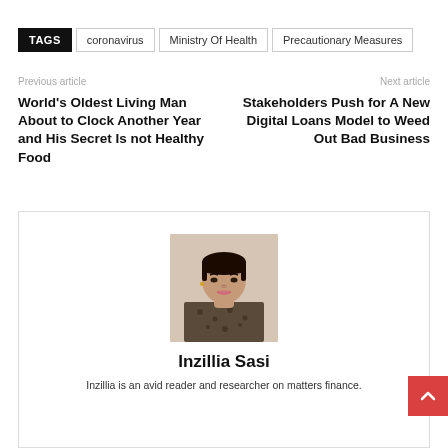TAGS  coronavirus  Ministry Of Health  Precautionary Measures
Previous article
Next article
World's Oldest Living Man About to Clock Another Year and His Secret Is not Healthy Food
Stakeholders Push for A New Digital Loans Model to Weed Out Bad Business
[Figure (photo): Portrait photo of Inzillia Sasi, a young woman wearing a leopard-print top]
Inzillia Sasi
Inzillia is an avid reader and researcher on matters finance.